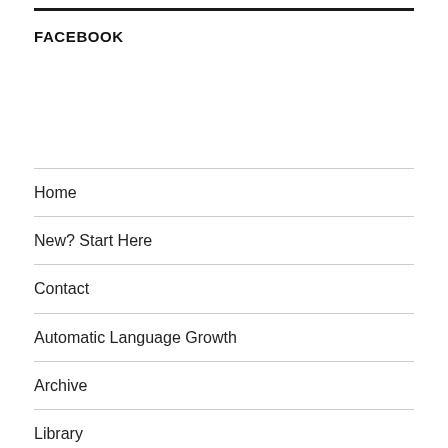FACEBOOK
Home
New? Start Here
Contact
Automatic Language Growth
Archive
Library